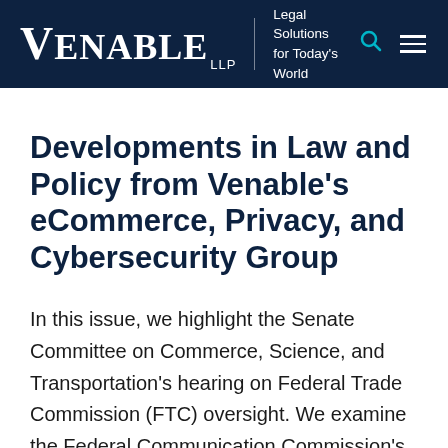VENABLE LLP | Legal Solutions for Today's World
Developments in Law and Policy from Venable's eCommerce, Privacy, and Cybersecurity Group
In this issue, we highlight the Senate Committee on Commerce, Science, and Transportation's hearing on Federal Trade Commission (FTC) oversight. We examine the Federal Communication Commission's request